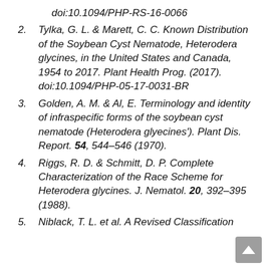doi:10.1094/PHP-RS-16-0066
2. Tylka, G. L. & Marett, C. C. Known Distribution of the Soybean Cyst Nematode, Heterodera glycines, in the United States and Canada, 1954 to 2017. Plant Health Prog. (2017). doi:10.1094/PHP-05-17-0031-BR
3. Golden, A. M. & Al, E. Terminology and identity of infraspecific forms of the soybean cyst nematode (Heterodera glyecines'). Plant Dis. Report. 54, 544–546 (1970).
4. Riggs, R. D. & Schmitt, D. P. Complete Characterization of the Race Scheme for Heterodera glycines. J. Nematol. 20, 392–395 (1988).
5. Niblack, T. L. et al. A Revised Classification